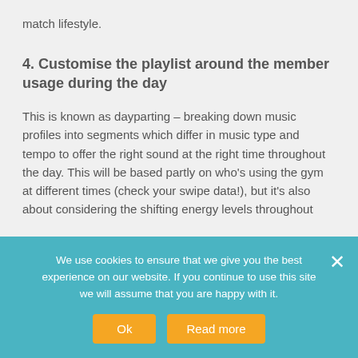match lifestyle.
4. Customise the playlist around the member usage during the day
This is known as dayparting – breaking down music profiles into segments which differ in music type and tempo to offer the right sound at the right time throughout the day. This will be based partly on who's using the gym at different times (check your swipe data!), but it's also about considering the shifting energy levels throughout
We use cookies to ensure that we give you the best experience on our website. If you continue to use this site we will assume that you are happy with it.